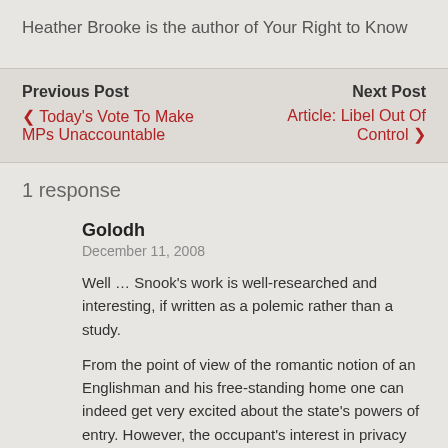Heather Brooke is the author of Your Right to Know
Previous Post
◂ Today's Vote To Make MPs Unaccountable
Next Post
Article: Libel Out Of Control ▸
1 response
Golodh
December 11, 2008
Well … Snook's work is well-researched and interesting, if written as a polemic rather than a study.
From the point of view of the romantic notion of an Englishman and his free-standing home one can indeed get very excited about the state's powers of entry. However, the occupant's interest in privacy